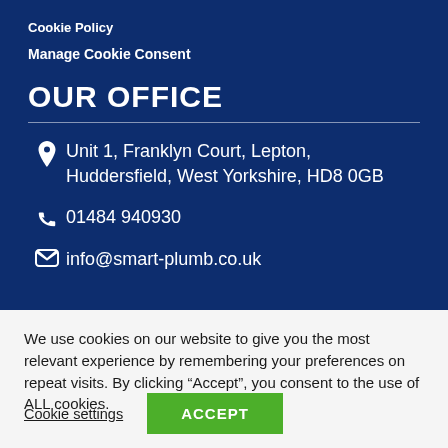Cookie Policy
Manage Cookie Consent
OUR OFFICE
Unit 1, Franklyn Court, Lepton, Huddersfield, West Yorkshire, HD8 0GB
01484 940930
info@smart-plumb.co.uk
We use cookies on our website to give you the most relevant experience by remembering your preferences on repeat visits. By clicking “Accept”, you consent to the use of ALL cookies.
Cookie settings
ACCEPT